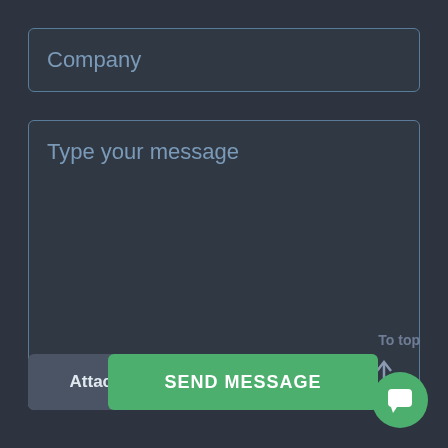Company
Type your message
Attach File
SEND MESSAGE
To top
[Figure (illustration): Chat/message bubble FAB button icon (white speech bubble on green circle)]